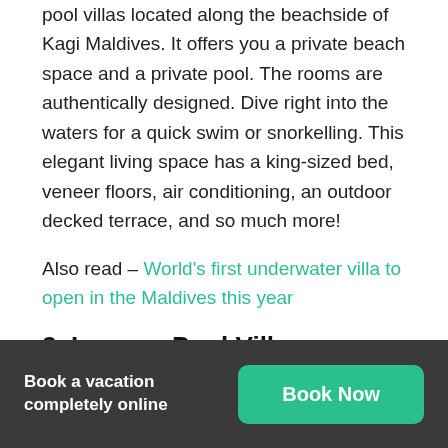pool villas located along the beachside of Kagi Maldives. It offers you a private beach space and a private pool. The rooms are authentically designed. Dive right into the waters for a quick swim or snorkelling. This elegant living space has a king-sized bed, veneer floors, air conditioning, an outdoor decked terrace, and so much more!
Also read – World's first underwater villa to open in the Maldives this year
2. Lagoon Pool Villa
The Maldivian luxury overwater villas offer elegant
Book a vacation completely online | Book Now